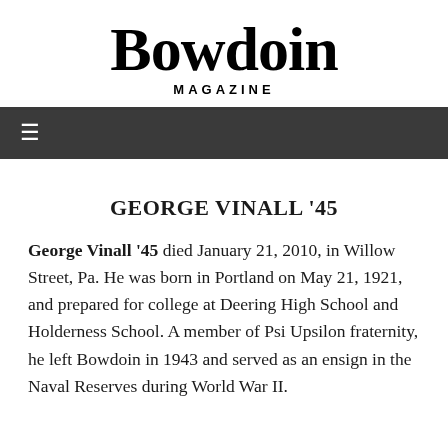Bowdoin MAGAZINE
GEORGE VINALL '45
George Vinall '45 died January 21, 2010, in Willow Street, Pa. He was born in Portland on May 21, 1921, and prepared for college at Deering High School and Holderness School. A member of Psi Upsilon fraternity, he left Bowdoin in 1943 and served as an ensign in the Naval Reserves during World War II.